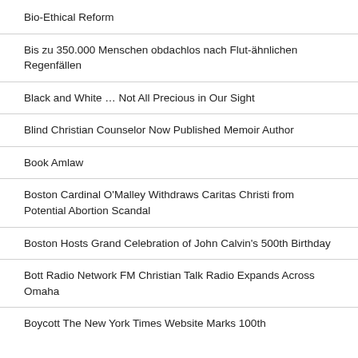Bio-Ethical Reform
Bis zu 350.000 Menschen obdachlos nach Flut-ähnlichen Regenfällen
Black and White … Not All Precious in Our Sight
Blind Christian Counselor Now Published Memoir Author
Book Amlaw
Boston Cardinal O'Malley Withdraws Caritas Christi from Potential Abortion Scandal
Boston Hosts Grand Celebration of John Calvin's 500th Birthday
Bott Radio Network FM Christian Talk Radio Expands Across Omaha
Boycott The New York Times Website Marks 100th